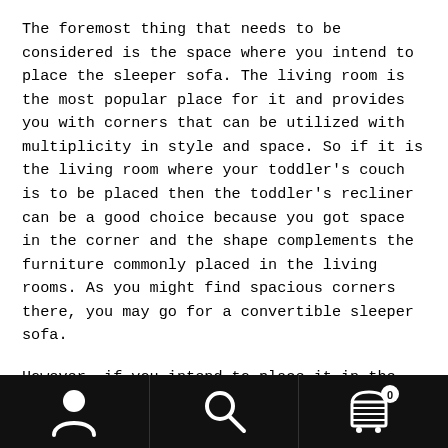The foremost thing that needs to be considered is the space where you intend to place the sleeper sofa. The living room is the most popular place for it and provides you with corners that can be utilized with multiplicity in style and space. So if it is the living room where your toddler's couch is to be placed then the toddler's recliner can be a good choice because you got space in the corner and the shape complements the furniture commonly placed in the living rooms. As you might find spacious corners there, you may go for a convertible sleeper sofa.
However, if you intend to place it in the bedroom then the recliner can be a misfit in the room.  For the room, you must look for smart items and the one symmetric
[Figure (other): Bottom navigation bar with three icons: person/user icon, search/magnifying glass icon, and shopping cart icon with badge showing 0]